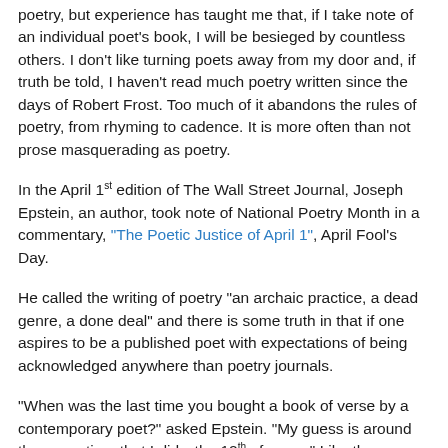poetry, but experience has taught me that, if I take note of an individual poet's book, I will be besieged by countless others. I don't like turning poets away from my door and, if truth be told, I haven't read much poetry written since the days of Robert Frost. Too much of it abandons the rules of poetry, from rhyming to cadence. It is more often than not prose masquerading as poetry.
In the April 1st edition of The Wall Street Journal, Joseph Epstein, an author, took note of National Poetry Month in a commentary, "The Poetic Justice of April 1", April Fool's Day.
He called the writing of poetry "an archaic practice, a dead genre, a done deal" and there is some truth in that if one aspires to be a published poet with expectations of being acknowledged anywhere than poetry journals.
"When was the last time you bought a book of verse by a contemporary poet?" asked Epstein. "My guess is around the same time that I did—the 12th of never." Like the song that says, "Momma, don't let your sons grow up to be cowboys", Epstein advised today's parents whose children announce